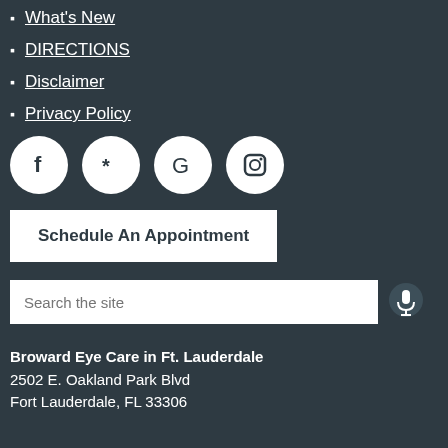What's New
DIRECTIONS
Disclaimer
Privacy Policy
[Figure (other): Four social media icons in white circles on dark background: Facebook, Yelp, Google, Instagram]
Schedule An Appointment
Search the site
Broward Eye Care in Ft. Lauderdale
2502 E. Oakland Park Blvd
Fort Lauderdale, FL 33306